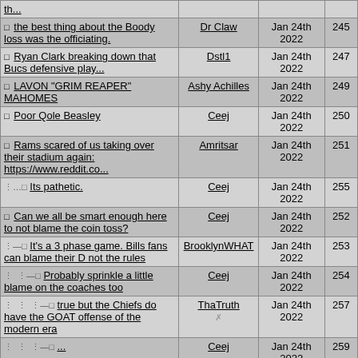|  | Author | Date | # |
| --- | --- | --- | --- |
| th... |  |  |  |
| ☐ the best thing about the Boody loss was the officiating. | Dr Claw | Jan 24th 2022 | 245 |
| ☐ Ryan Clark breaking down that Bucs defensive play... | Dstl1 | Jan 24th 2022 | 247 |
| ☐ LAVON "GRIM REAPER" MAHOMES | Ashy Achilles | Jan 24th 2022 | 249 |
| ☐ Poor Qole Beasley | Ceej | Jan 24th 2022 | 250 |
| ☐ Rams scared of us taking over their stadium again: https://www.reddit.co... | Amritsar | Jan 24th 2022 | 251 |
|   └──☐ Its pathetic. | Ceej | Jan 24th 2022 | 255 |
| ☐ Can we all be smart enough here to not blame the coin toss? | Ceej | Jan 24th 2022 | 252 |
|   └──☐ It's a 3 phase game. Bills fans can blame their D not the rules | BrooklynWHAT | Jan 24th 2022 | 253 |
|     └──☐ Probably sprinkle a little blame on the coaches too | Ceej | Jan 24th 2022 | 254 |
|       └──☐ true but the Chiefs do have the GOAT offense of the modern era | ThaTruth | Jan 24th 2022 | 257 |
|       └──☐ ... | Ceej | Jan 24th 2022 | 259 |